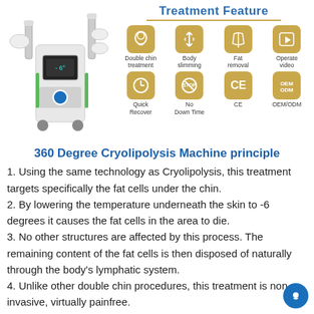[Figure (photo): Photo of 360 Degree Cryolipolysis Machine on the left, and Treatment Feature icons on the right showing: Double chin treatment, Body slimming, Fat removal, Operate video, Quick Recover, No Down Time, CE, OEM/ODM]
360 Degree Cryolipolysis Machine principle 
1. Using the same technology as Cryolipolysis, this treatment targets specifically the fat cells under the chin.
2. By lowering the temperature underneath the skin to -6 degrees it causes the fat cells in the area to die.
3. No other structures are affected by this process. The remaining content of the fat cells is then disposed of naturally through the body’s lymphatic system.
4. Unlike other double chin procedures, this treatment is non-invasive, virtually painfree.